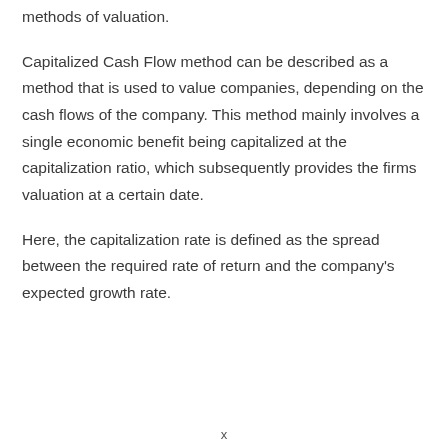methods of valuation.
Capitalized Cash Flow method can be described as a method that is used to value companies, depending on the cash flows of the company. This method mainly involves a single economic benefit being capitalized at the capitalization ratio, which subsequently provides the firms valuation at a certain date.
Here, the capitalization rate is defined as the spread between the required rate of return and the company's expected growth rate.
x